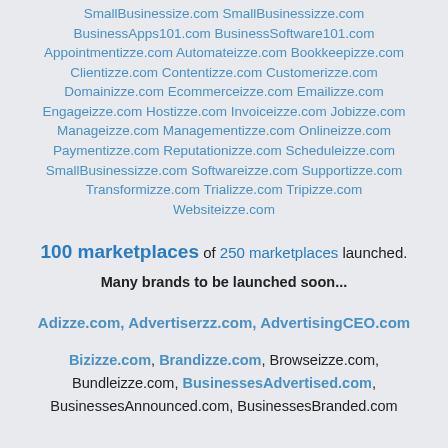SmallBusinessize.com SmallBusinessizze.com BusinessApps101.com BusinessSoftware101.com Appointmentizze.com Automateizze.com Bookkeepizze.com Clientizze.com Contentizze.com Customerizze.com Domainizze.com Ecommerceizze.com Emailizze.com Engageizze.com Hostizze.com Invoiceizze.com Jobizze.com Manageizze.com Managementizze.com Onlineizze.com Paymentizze.com Reputationizze.com Scheduleizze.com SmallBusinessizze.com Softwareizze.com Supportizze.com Transformizze.com Trializze.com Tripizze.com Websiteizze.com
100 marketplaces of 250 marketplaces launched. Many brands to be launched soon...
Adizze.com, Advertiserzz.com, AdvertisingCEO.com
Bizizze.com, Brandizze.com, Browseizze.com, Bundleizze.com, BusinessesAdvertised.com, BusinessesAnnounced.com, BusinessesBranded.com